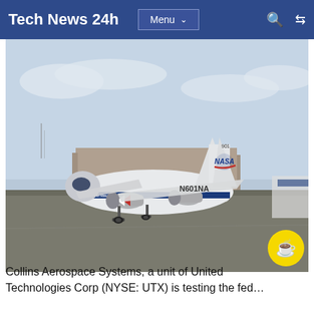Tech News 24h
[Figure (photo): NASA Glenn Research Center twin-engine turboprop aircraft (N601NA) on tarmac with NASA logo on tail fin]
Collins Aerospace Systems, a unit of United Technologies Corp (NYSE: UTX) is testing the fed...